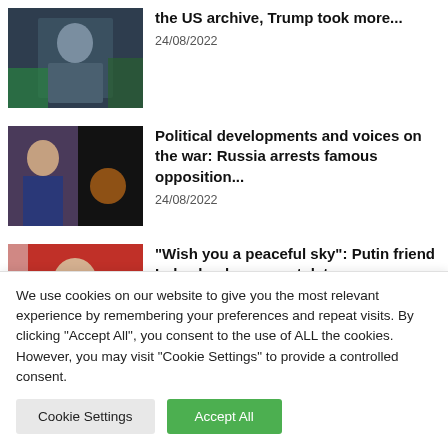[Figure (photo): Man in suit, dark background - news thumbnail]
the US archive, Trump took more...
24/08/2022
[Figure (photo): Woman in blue jacket and fire scene - news thumbnail]
Political developments and voices on the war: Russia arrests famous opposition...
24/08/2022
[Figure (photo): Man speaking against red background - Lukashenko - news thumbnail]
“Wish you a peaceful sky”: Putin friend Lukashenko congratulates
We use cookies on our website to give you the most relevant experience by remembering your preferences and repeat visits. By clicking “Accept All”, you consent to the use of ALL the cookies. However, you may visit “Cookie Settings” to provide a controlled consent.